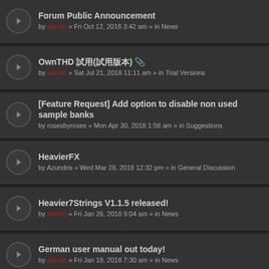Forum Public Announcement
by admin » Fri Oct 12, 2018 3:42 am » in News
OwnTHD 試用(試用版本) 📎
by admin » Sat Jul 21, 2018 11:11 am » in Trial Versions
[Feature Request] Add option to disable non used sample banks
by rosesbyrosex » Mon Apr 30, 2018 1:58 am » in Suggestions
HeavierFX
by Azundris » Wed Mar 28, 2018 12:32 pm » in General Discussion
Heavier7Strings V1.1.5 released!
by admin » Fri Jan 26, 2018 9:04 am » in News
German user manual out today!
by admin » Fri Jan 19, 2018 7:30 am » in News
Heavier7Strings V1.1.3 Released!
by admin » Thu Dec 21, 2017 5:55 am » in News
Variable tempos for tremolo picking
by sadvader » Fri Nov 17, 2017 3:04 am » in Suggestions